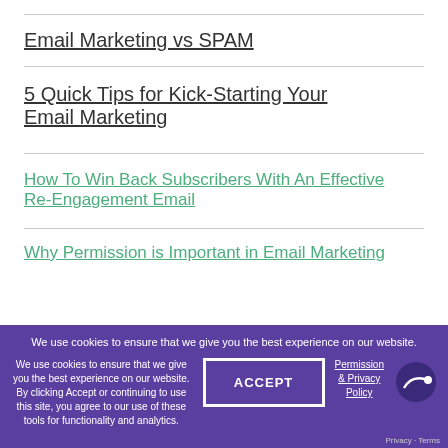Email Marketing vs SPAM
5 Quick Tips for Kick-Starting Your Email Marketing
How To Win Back Subscribers With An Effective Re-Engagement Email
Why Permission is Important in Email Marketing
...ail List: Beyond Your Signup
Design Email Campaigns For Mobile First...
We use cookies to ensure that we give you the best experience on our website. We use cookies to ensure that we give you the best experience on our website. By clicking Accept or continuing to use this site, you agree to our use of these tools for functionality and analytics.
ACCEPT
Permission & Privacy Policy